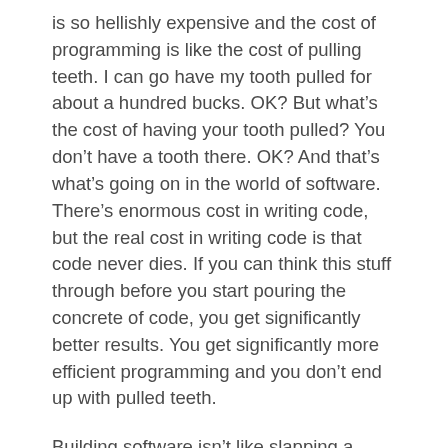is so hellishly expensive and the cost of programming is like the cost of pulling teeth. I can go have my tooth pulled for about a hundred bucks. OK? But what's the cost of having your tooth pulled? You don't have a tooth there. OK? And that's what's going on in the world of software. There's enormous cost in writing code, but the real cost in writing code is that code never dies. If you can think this stuff through before you start pouring the concrete of code, you get significantly better results. You get significantly more efficient programming and you don't end up with pulled teeth.
Building software isn't like slapping a shack together; it's more like building a 50-story office building or a giant dam.
Beck: I think it's nothing like those. If you build a